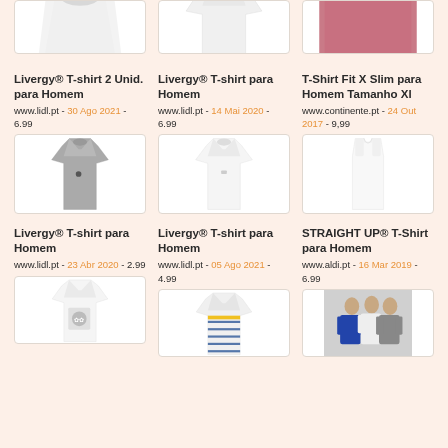[Figure (photo): Top row partially visible product images - three t-shirts]
Livergy® T-shirt 2 Unid. para Homem
www.lidl.pt - 30 Ago 2021 - 6.99
[Figure (photo): Gray men's t-shirt product image]
Livergy® T-shirt para Homem
www.lidl.pt - 14 Mai 2020 - 6.99
[Figure (photo): White men's t-shirt product image]
T-Shirt Fit X Slim para Homem Tamanho Xl
www.continente.pt - 24 Out 2017 - 9,99
[Figure (photo): White women's tank top product image]
Livergy® T-shirt para Homem
www.lidl.pt - 23 Abr 2020 - 2.99
[Figure (photo): White t-shirt with floral print product image (partially visible)]
Livergy® T-shirt para Homem
www.lidl.pt - 05 Ago 2021 - 4.99
[Figure (photo): Striped blue and white t-shirt with yellow accent (partially visible)]
STRAIGHT UP® T-Shirt para Homem
www.aldi.pt - 16 Mar 2019 - 6.99
[Figure (photo): Multiple men's t-shirts on hangers (partially visible)]